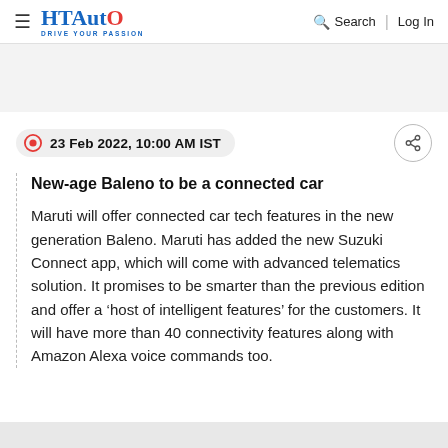HT Auto - Drive Your Passion | Search | Log In
23 Feb 2022, 10:00 AM IST
New-age Baleno to be a connected car
Maruti will offer connected car tech features in the new generation Baleno. Maruti has added the new Suzuki Connect app, which will come with advanced telematics solution. It promises to be smarter than the previous edition and offer a ‘host of intelligent features’ for the customers. It will have more than 40 connectivity features along with Amazon Alexa voice commands too.